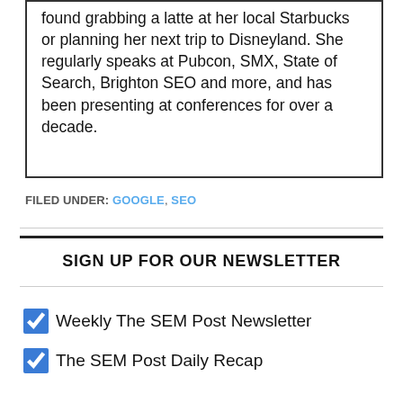found grabbing a latte at her local Starbucks or planning her next trip to Disneyland. She regularly speaks at Pubcon, SMX, State of Search, Brighton SEO and more, and has been presenting at conferences for over a decade.
FILED UNDER: GOOGLE, SEO
SIGN UP FOR OUR NEWSLETTER
Weekly The SEM Post Newsletter
The SEM Post Daily Recap